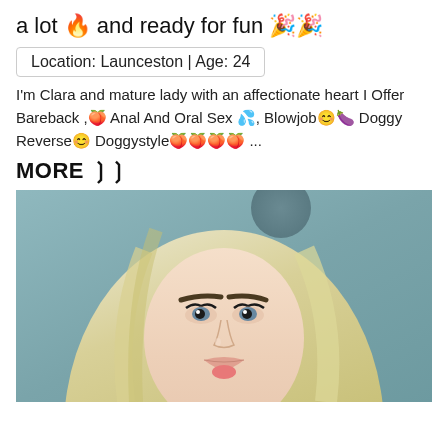a lot 🔥 and ready for fun 🎉🎉
Location: Launceston | Age: 24
I'm Clara and mature lady with an affectionate heart I Offer Bareback ,🍑 Anal And Oral Sex 💦, Blowjob😊🍆 Doggy Reverse😊 Doggystyle🍑🍑🍑🍑 ...
MORE ❯❯
[Figure (photo): Selfie photo of a young blonde woman with heavy eye makeup, looking at camera with mouth slightly open]